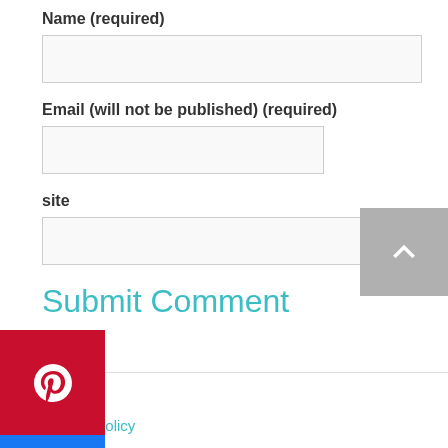Name (required)
Email (will not be published) (required)
site
Submit Comment
Contact
Privacy Policy